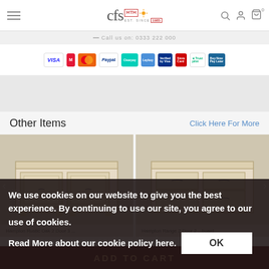CFS HTH furniture website header with hamburger menu, logo, search, account, cart icons
Call us on: [phone number]
[Figure (infographic): Payment method badges: VISA, Maestro, Mastercard, PayPal, Clearpay, Laybuy, Verified by Visa, StoreCare, Trustpilot, Buy Now Pay Later]
Other Items
Click Here For More
[Figure (photo): Hampton Rustic Oak 2 Door 3 drawer cream/white painted sideboard furniture product image]
[Figure (photo): Hampton Range 2 Door 2 drawer cream/white painted sideboard furniture product image]
Hampton Rustic Oak 2 Door 3 ...
Hampton Range 2 Door 2 ...board
We use cookies on our website to give you the best experience. By continuing to use our site, you agree to our use of cookies.
Read More about our cookie policy here.
ADD TO CART